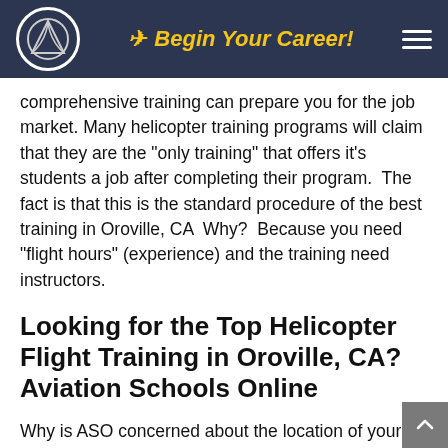Begin Your Career!
comprehensive training can prepare you for the job market. Many helicopter training programs will claim that they are the "only training" that offers it's students a job after completing their program.  The fact is that this is the standard procedure of the best training in Oroville, CA  Why?  Because you need "flight hours" (experience) and the training need instructors.
Looking for the Top Helicopter Flight Training in Oroville, CA? Aviation Schools Online
Why is ASO concerned about the location of your helicopter flight training program? At ASO our goal is to be the best helicopter training program option for career-minded student pilots coming from Oroville, CA